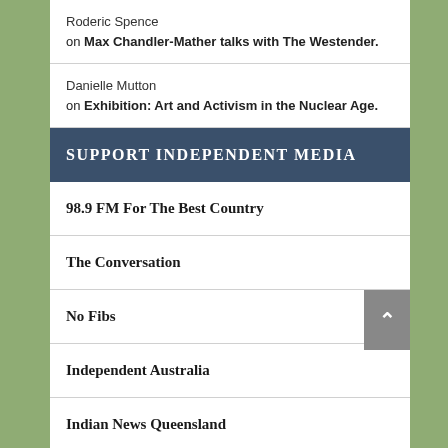Roderic Spence on Max Chandler-Mather talks with The Westender.
Danielle Mutton on Exhibition: Art and Activism in the Nuclear Age.
SUPPORT INDEPENDENT MEDIA
98.9 FM For The Best Country
The Conversation
No Fibs
Independent Australia
Indian News Queensland
Aldinga Bay Residents Association